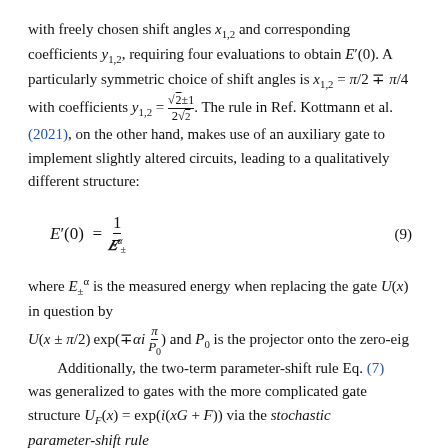with freely chosen shift angles x_{1,2} and corresponding coefficients y_{1,2}, requiring four evaluations to obtain E'(0). A particularly symmetric choice of shift angles is x_{1,2} = π/2 ∓ π/4 with coefficients y_{1,2} = (√2±1)/(2√2). The rule in Ref. Kottmann et al. (2021), on the other hand, makes use of an auxiliary gate to implement slightly altered circuits, leading to a qualitatively different structure:
where E^α_± is the measured energy when replacing the gate U(x) in question by U(x ± π/2) exp(∓αi π/P_0) and P_0 is the projector onto the zero-eig Additionally, the two-term parameter-shift rule Eq. (7) was generalized to gates with the more complicated gate structure U_F(x) = exp(i(xG + F)) via the stochastic parameter-shift rule